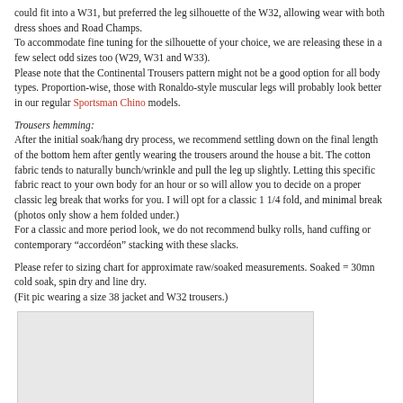could fit into a W31, but preferred the leg silhouette of the W32, allowing wear with both dress shoes and Road Champs.
To accommodate fine tuning for the silhouette of your choice, we are releasing these in a few select odd sizes too (W29, W31 and W33).
Please note that the Continental Trousers pattern might not be a good option for all body types. Proportion-wise, those with Ronaldo-style muscular legs will probably look better in our regular Sportsman Chino models.
Trousers hemming:
After the initial soak/hang dry process, we recommend settling down on the final length of the bottom hem after gently wearing the trousers around the house a bit. The cotton fabric tends to naturally bunch/wrinkle and pull the leg up slightly. Letting this specific fabric react to your own body for an hour or so will allow you to decide on a proper classic leg break that works for you. I will opt for a classic 1 1/4 fold, and minimal break (photos only show a hem folded under.)
For a classic and more period look, we do not recommend bulky rolls, hand cuffing or contemporary “accordéon” stacking with these slacks.
Please refer to sizing chart for approximate raw/soaked measurements. Soaked = 30mn cold soak, spin dry and line dry.
(Fit pic wearing a size 38 jacket and W32 trousers.)
[Figure (photo): A light gray rectangular image placeholder box]